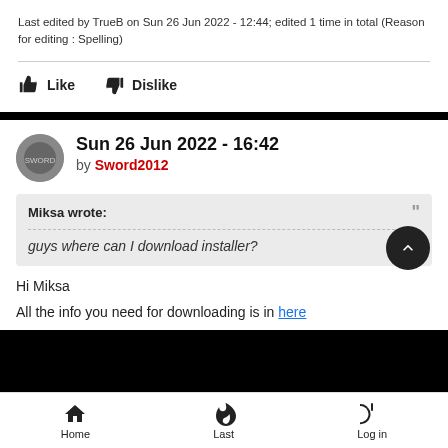Last edited by TrueB on Sun 26 Jun 2022 - 12:44; edited 1 time in total (Reason for editing : Spelling)
Like   Dislike
Sun 26 Jun 2022 - 16:42
by Sword2012
Miksa wrote:
guys where can I download installer?
Hi Miksa
All the info you need for downloading is in here
Home   Last   Log in